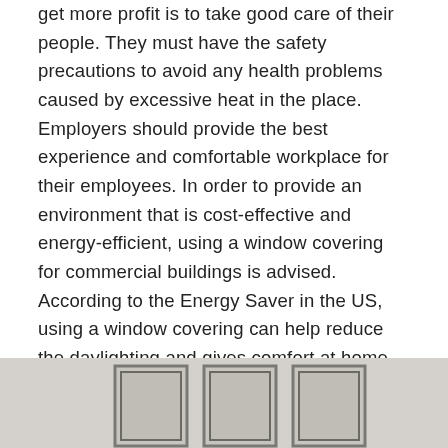get more profit is to take good care of their people. They must have the safety precautions to avoid any health problems caused by excessive heat in the place. Employers should provide the best experience and comfortable workplace for their employees. In order to provide an environment that is cost-effective and energy-efficient, using a window covering for commercial buildings is advised.  According to the Energy Saver in the US, using a window covering can help reduce the daylighting and gives comfort at home.
[Figure (photo): Photo of three windows with dark frames set against a light gray wall, viewed from slightly below.]